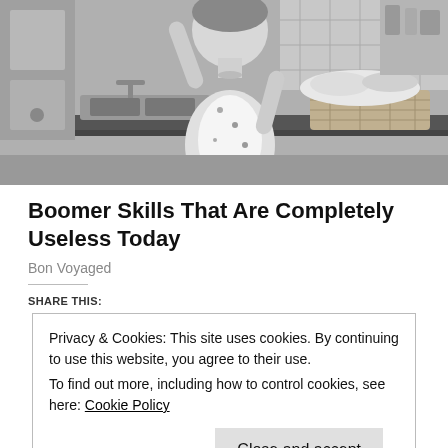[Figure (photo): Black and white vintage photo of a woman in a floral apron standing in a kitchen near a sink, with a laundry basket on the counter beside her.]
Boomer Skills That Are Completely Useless Today
Bon Voyaged
SHARE THIS:
Privacy & Cookies: This site uses cookies. By continuing to use this website, you agree to their use.
To find out more, including how to control cookies, see here: Cookie Policy
Close and accept